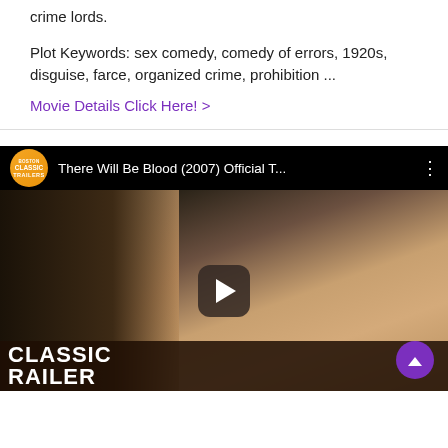crime lords.
Plot Keywords: sex comedy, comedy of errors, 1920s, disguise, farce, organized crime, prohibition ...
Movie Details Click Here! >
[Figure (screenshot): YouTube video embed for 'There Will Be Blood (2007) Official T...' from Classic Trailers channel, showing a close-up of a man's face and 'CLASSIC RAILER' text overlay with a play button in the center.]